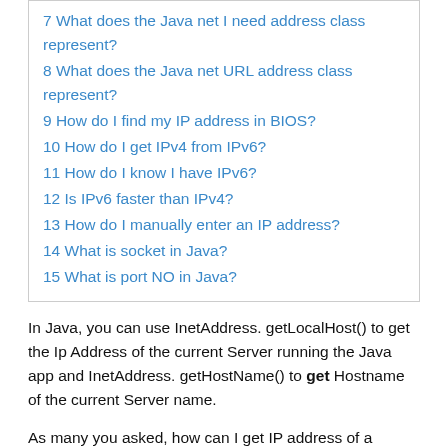7 What does the Java net I need address class represent?
8 What does the Java net URL address class represent?
9 How do I find my IP address in BIOS?
10 How do I get IPv4 from IPv6?
11 How do I know I have IPv6?
12 Is IPv6 faster than IPv4?
13 How do I manually enter an IP address?
14 What is socket in Java?
15 What is port NO in Java?
In Java, you can use InetAddress. getLocalHost() to get the Ip Address of the current Server running the Java app and InetAddress. getHostName() to get Hostname of the current Server name.
As many you asked, how can I get IP address of a system? Click Start ->Control Panel -> Network and Internet -> Network and Sharing Center, and go to Details. The IP address will